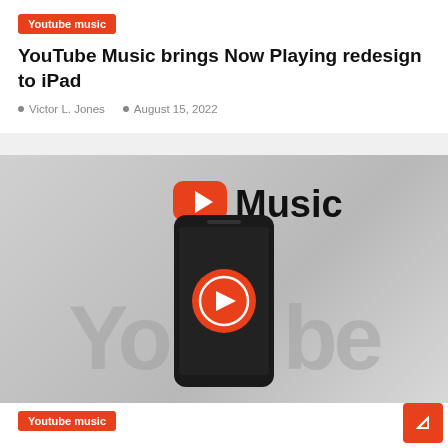Youtube music
YouTube Music brings Now Playing redesign to iPad
Victor L. Jones   August 15, 2022
[Figure (photo): YouTube Music promotional image showing the YouTube Music logo (red play button icon with 'Music' text) above a dark smartphone displaying a red circular play button, set against a gray background with 'YouTube' watermark text]
Youtube music